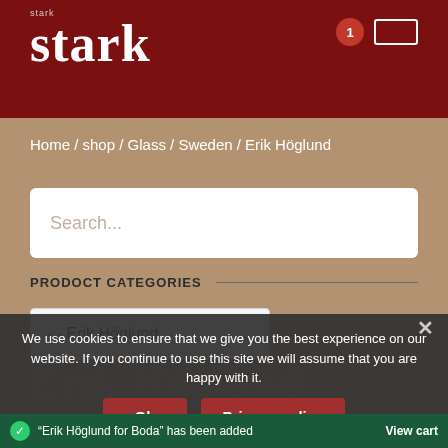[Figure (screenshot): Dark red header bar with 'stark' logo in white serif font, cart badge showing 1, and cart icon outline on right]
Home / shop / Glass / Sweden / Erik Höglund
[Figure (screenshot): White rounded search input box with placeholder text 'Search...']
PRODOCT CATEGORIES
[Figure (screenshot): Dropdown select element showing '- - Erik Höglund' with chevron arrow]
We use cookies to ensure that we give you the best experience on our website. If you continue to use this site we will assume that you are happy with it.
Ok
Privacy policy
"Erik Höglund for Boda" has been added
View cart